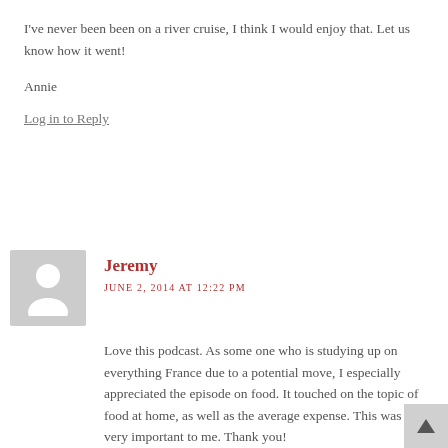I've never been been on a river cruise, I think I would enjoy that. Let us know how it went!
Annie
Log in to Reply
Jeremy
JUNE 2, 2014 AT 12:22 PM
Love this podcast. As some one who is studying up on everything France due to a potential move, I especially appreciated the episode on food. It touched on the topic of food at home, as well as the average expense. This was very important to me. Thank you! À la prochaine!